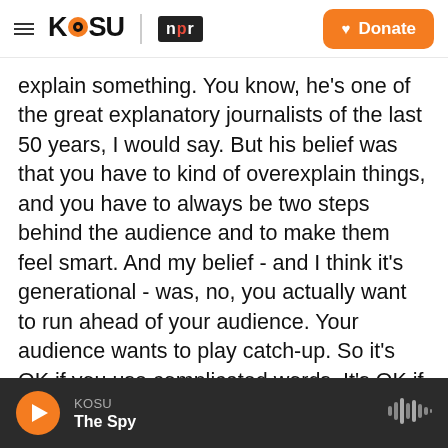KOSU | npr — Donate
explain something. You know, he's one of the great explanatory journalists of the last 50 years, I would say. But his belief was that you have to kind of overexplain things, and you have to always be two steps behind the audience and to make them feel smart. And my belief - and I think it's generational - was, no, you actually want to run ahead of your audience. Your audience wants to play catch-up. So it's OK if you use complicated words. It's OK if you do weird, you know, Tarantino-esque, weird structural flips and that kind of stuff. That's good. The audience likes that.
KOSU — The Spy